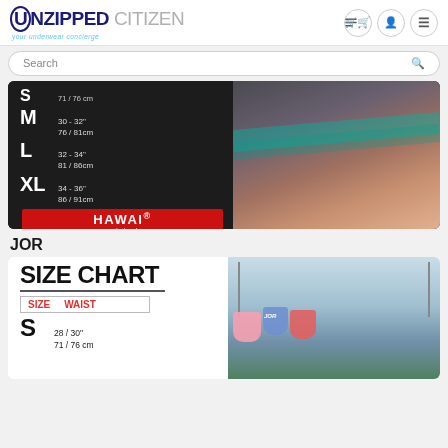UNZIPPED CITIZEN — your underwear concierge
[Figure (screenshot): Search bar with magnifying glass icon]
[Figure (photo): HAWAI original underwear size chart showing M 30-32" 76/81cm, L 32-34" 81/86cm, XL 34-36" 86/91cm with model photo]
JOR
[Figure (photo): JOR SIZE CHART showing SIZE and WAIST columns, S 28/30" 71/76 cm, with outdoor underwear photo]